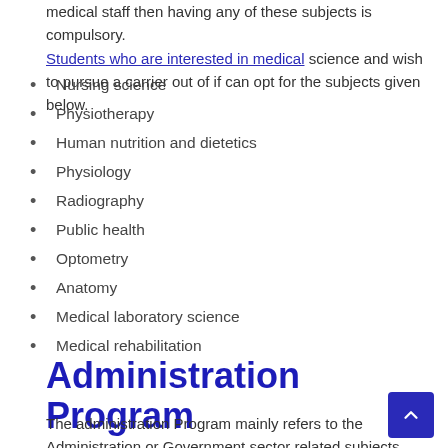medical staff then having any of these subjects is compulsory. Students who are interested in medical science and wish to pursue a carrier out of if can opt for the subjects given below.
Nursing science
Physiotherapy
Human nutrition and dietetics
Physiology
Radiography
Public health
Optometry
Anatomy
Medical laboratory science
Medical rehabilitation
Administration Program
The administration Program mainly refers to the Administration or Government sector related subjects. This set of subjects